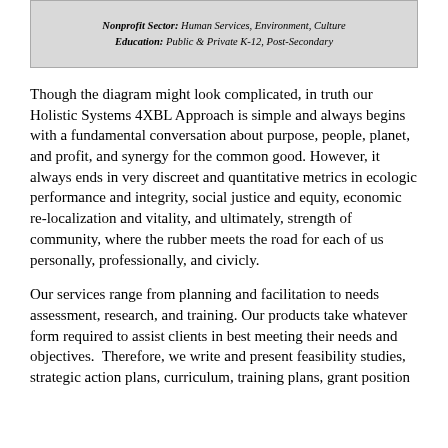Nonprofit Sector: Human Services, Environment, Culture
Education: Public & Private K-12, Post-Secondary
Though the diagram might look complicated, in truth our Holistic Systems 4XBL Approach is simple and always begins with a fundamental conversation about purpose, people, planet, and profit, and synergy for the common good. However, it always ends in very discreet and quantitative metrics in ecologic performance and integrity, social justice and equity, economic re-localization and vitality, and ultimately, strength of community, where the rubber meets the road for each of us personally, professionally, and civicly.
Our services range from planning and facilitation to needs assessment, research, and training. Our products take whatever form required to assist clients in best meeting their needs and objectives. Therefore, we write and present feasibility studies, strategic action plans, curriculum, training plans, grant position...